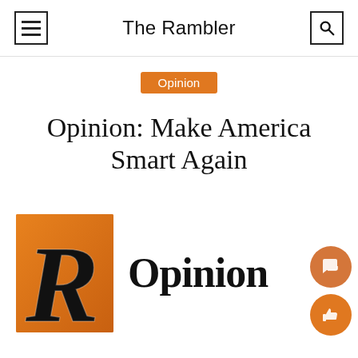The Rambler
Opinion
Opinion: Make America Smart Again
[Figure (logo): The Rambler newspaper logo: orange square background with bold blackletter capital R, followed by the word Opinion in bold serif font]